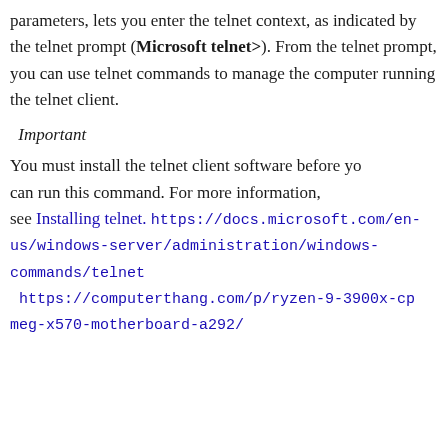parameters, lets you enter the telnet context, as indicated by the telnet prompt (Microsoft telnet>). From the telnet prompt, you can use telnet commands to manage the computer running the telnet client.
Important
You must install the telnet client software before you can run this command. For more information, see Installing telnet. https://docs.microsoft.com/en-us/windows-server/administration/windows-commands/telnet https://computerthang.com/p/ryzen-9-3900x-cpu-meg-x570-motherboard-a292/